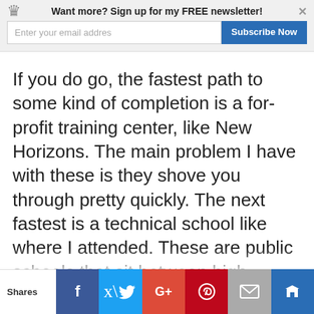[Figure (screenshot): Newsletter signup banner with crown icon, 'Want more? Sign up for my FREE newsletter!' heading, email input field, Subscribe Now button, and close (×) button]
If you do go, the fastest path to some kind of completion is a for-profit training center, like New Horizons. The main problem I have with these is they shove you through pretty quickly. The next fastest is a technical school like where I attended. These are public schools that sit between high school and college. You get the technical information without the fluff- so no English or Maple Syrup classes.
If you really, really must have a 2 or 4-year degree, fine. Avoid the really bad for me...
[Figure (screenshot): Social share bar at the bottom with Shares label, Facebook, Twitter, Google+, Pinterest, Email, and crown/bookmark buttons]